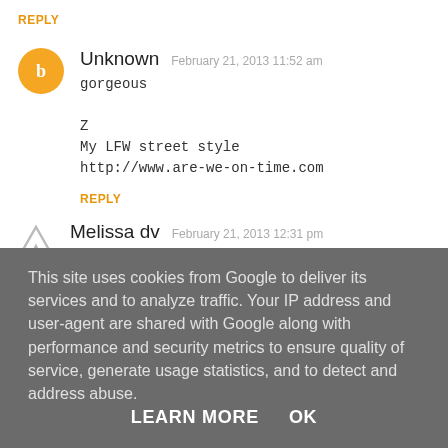REPLY
Unknown   February 21, 2013 11:52 am

gorgeous

Z
My LFW street style
http://www.are-we-on-time.com
REPLY
Melissa dv   February 21, 2013 12:31 pm
This site uses cookies from Google to deliver its services and to analyze traffic. Your IP address and user-agent are shared with Google along with performance and security metrics to ensure quality of service, generate usage statistics, and to detect and address abuse.
LEARN MORE    OK